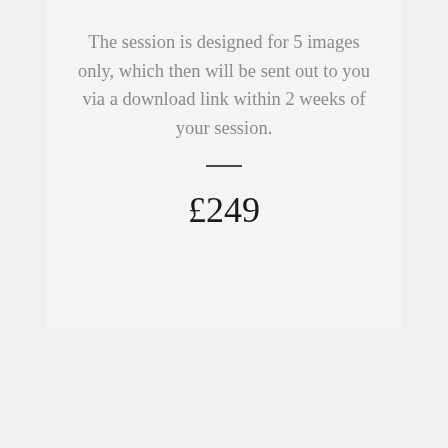The session is designed for 5 images only, which then will be sent out to you via a download link within 2 weeks of your session.
£249